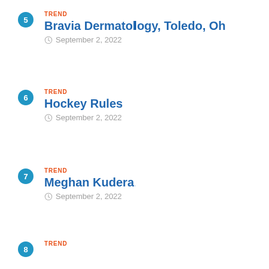5 – TREND – Bravia Dermatology, Toledo, Oh – September 2, 2022
6 – TREND – Hockey Rules – September 2, 2022
7 – TREND – Meghan Kudera – September 2, 2022
8 – TREND